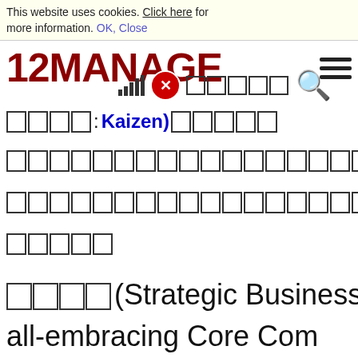This website uses cookies. Click here for more information. OK, Close
[Figure (logo): 12MANAGE logo in dark red bold text with hamburger menu icon]
□□□□: Kaizen)□□□□□□□□□□□□□
□□□□□□□□□□□□□□□□□□□□□□□□□□□□□□□□□□□
□□□□□□□□□□□□□□□□□□□□□□□□□□□□□□□□□□□
□□□□□
□□□□(Strategic Business U
all-embracing Core Com